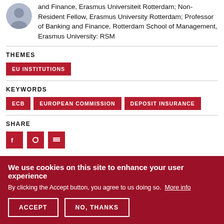and Finance, Erasmus Universiteit Rotterdam; Non-Resident Fellow, Erasmus University Rotterdam; Professor of Banking and Finance, Rotterdam School of Management, Erasmus University: RSM
THEMES
EU INSTITUTIONS
KEYWORDS
ECB
EUROPEAN COMMISSION
DEPOSIT INSURANCE
SHARE
We use cookies on this site to enhance your user experience
By clicking the Accept button, you agree to us doing so. More info
ACCEPT
NO, THANKS